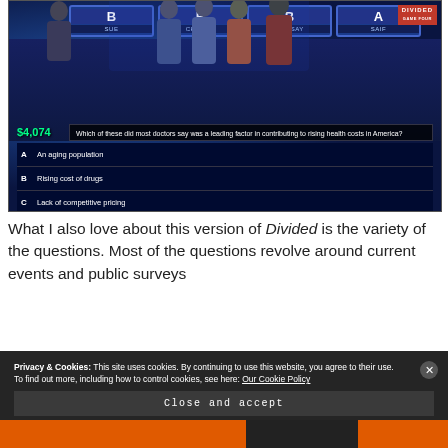[Figure (screenshot): TV game show screenshot of 'Divided' showing four contestant panels (B, B, B, A) with names Sue, Charlie, Lindsay, Saif. A question reads 'Which of these did most doctors say was a leading factor in contributing to rising health costs in America?' with options A: An aging population, B: Rising cost of drugs, C: Lack of competitive pricing. Price shown: $4,074.]
What I also love about this version of Divided is the variety of the questions. Most of the questions revolve around current events and public surveys
Privacy & Cookies: This site uses cookies. By continuing to use this website, you agree to their use.
To find out more, including how to control cookies, see here: Our Cookie Policy
Close and accept